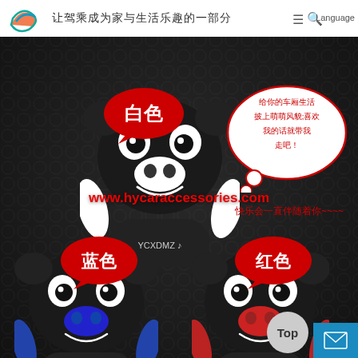让驾乘成为家与生活乐趣的一部分
[Figure (photo): Product photo showing cartoon bear-shaped car headrest pillows in three colors (white, blue, red) branded YCXDMZ, on dark leather background with Chinese speech bubbles labeling each color (白色, 蓝色, 红色) and a thought bubble in top right, overlay URL www.hycaraccessories.com]
白色
给你的车厢生活 披上萌萌风貌;喜欢 我的话就带我 走吧！
快乐会一直伴随着你~~~
www.hycaraccessories.com
蓝色
红色
Language